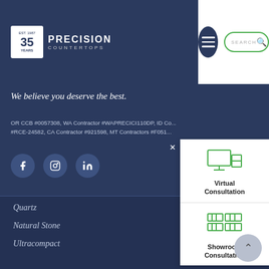[Figure (logo): Precision Countertops 35 year anniversary logo with white badge showing EST. 1987 and 35 YEARS text]
[Figure (other): Hamburger menu button (dark navy circle with three white lines) and search bar with green border and magnifying glass icon]
We believe you deserve the best.
OR CCB #0057308, WA Contractor #WAPRECICI110DP, ID Co... #RCE-24582, CA Contractor #921598, MT Contractors #F051...
[Figure (other): Facebook, Instagram, and LinkedIn social media icon circles in dark blue]
[Figure (other): Popup panel with close X button, Virtual Consultation option with monitor icon, and Showroom Consultation option with grid icon]
Quartz
Natural Stone
Ultracompact